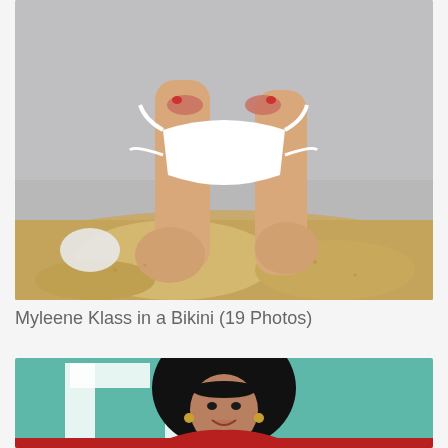[Figure (photo): Close-up photo of a person kneeling on a beach in a white bikini bottom, with sand around them]
Myleene Klass in a Bikini (19 Photos)
[Figure (photo): Photo of a woman with large curly hair wearing a red outfit at what appears to be a movie premiere or event with a teal/green backdrop]